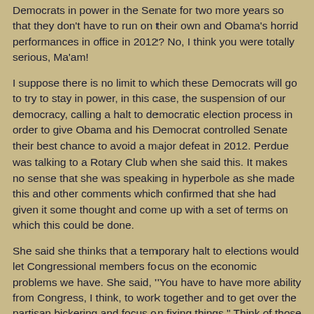Democrats in power in the Senate for two more years so that they don't have to run on their own and Obama's horrid performances in office in 2012? No, I think you were totally serious, Ma'am!
I suppose there is no limit to which these Democrats will go to try to stay in power, in this case, the suspension of our democracy, calling a halt to democratic election process in order to give Obama and his Democrat controlled Senate their best chance to avoid a major defeat in 2012. Perdue was talking to a Rotary Club when she said this. It makes no sense that she was speaking in hyperbole as she made this and other comments which confirmed that she had given it some thought and come up with a set of terms on which this could be done.
She said she thinks that a temporary halt to elections would let Congressional members focus on the economic problems we have. She said, "You have to have more ability from Congress, I think, to work together and to get over the partisan bickering and focus on fixing things." Think of those Democrat Senators and House Representatives who are already considering retiring so that they don't have to face the 2012 election. Perdue's comment would give them a pass for two to six more years.